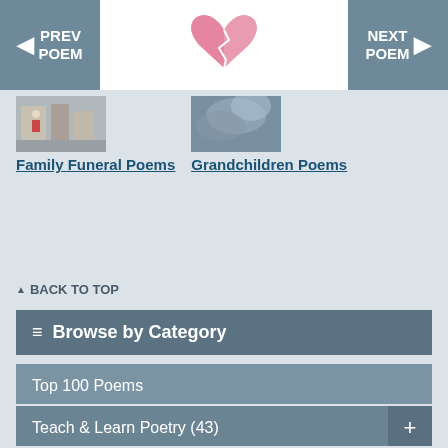PREV POEM | [logo] | NEXT POEM
Family Funeral Poems
Grandchildren Poems
BACK TO TOP
Browse by Category
Top 100 Poems
Teach & Learn Poetry (43)
Children Poems (343)
Death Poems (1005)
Family Poems (1389)